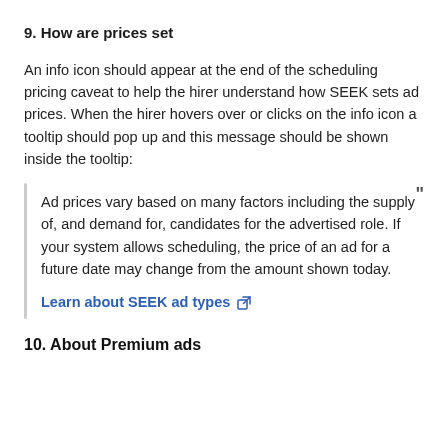9. How are prices set
An info icon should appear at the end of the scheduling pricing caveat to help the hirer understand how SEEK sets ad prices. When the hirer hovers over or clicks on the info icon a tooltip should pop up and this message should be shown inside the tooltip:
Ad prices vary based on many factors including the supply of, and demand for, candidates for the advertised role. If your system allows scheduling, the price of an ad for a future date may change from the amount shown today.

Learn about SEEK ad types
10. About Premium ads